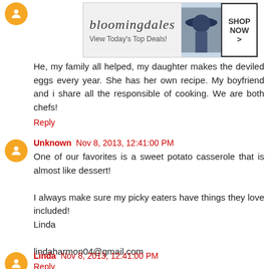[Figure (screenshot): Bloomingdale's advertisement banner: 'View Today's Top Deals!' with SHOP NOW > button and image of woman in hat]
He, my family all helped, my daughter makes the deviled eggs every year. She has her own recipe. My boyfriend and i share all the responsible of cooking. We are both chefs!
Reply
Unknown  Nov 8, 2013, 12:41:00 PM
One of our favorites is a sweet potato casserole that is almost like dessert!

I always make sure my picky eaters have things they love included!
Linda

lindaharmon04@gmail.com
Reply
Linda  Nov 8, 2013, 12:41:00 PM